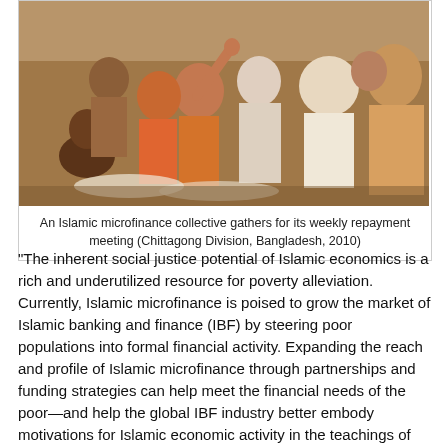[Figure (photo): A group of women sitting together in an Islamic microfinance collective weekly repayment meeting, Chittagong Division, Bangladesh, 2010.]
An Islamic microfinance collective gathers for its weekly repayment meeting (Chittagong Division, Bangladesh, 2010)
"The inherent social justice potential of Islamic economics is a rich and underutilized resource for poverty alleviation. Currently, Islamic microfinance is poised to grow the market of Islamic banking and finance (IBF) by steering poor populations into formal financial activity. Expanding the reach and profile of Islamic microfinance through partnerships and funding strategies can help meet the financial needs of the poor—and help the global IBF industry better embody motivations for Islamic economic activity in the teachings of the Qur'an and Sunnah. In this context, Islamic microfinance holds tremendous potential to tap into often-scattered Islamic donor streams – zakat, sadaqat, and waqf – and channel